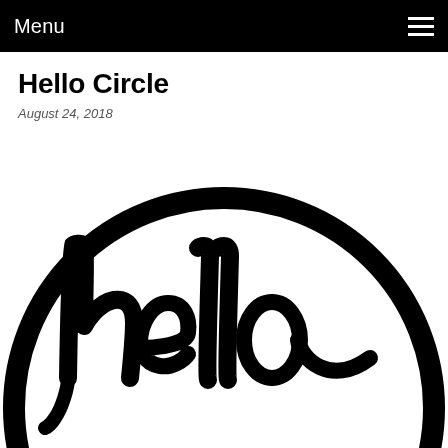Menu
Hello Circle
August 24, 2018
[Figure (illustration): A circular logo/graphic with the word 'hello' written in large black cursive/script lettering inside a thick black circle border. The image is cropped so only the top portion of the circle is fully visible.]